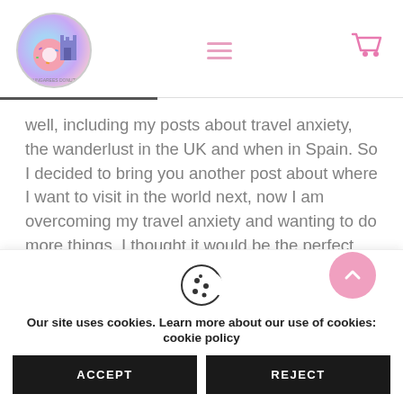[Figure (logo): Dungarees Donuts circular logo with a colorful donut and castle illustration]
well, including my posts about travel anxiety, the wanderlust in the UK and when in Spain. So I decided to bring you another post about where I want to visit in the world next, now I am overcoming my travel anxiety and wanting to do more things, I thought it would be the perfect time to get planning.
Our site uses cookies. Learn more about our use of cookies: cookie policy
ACCEPT
REJECT